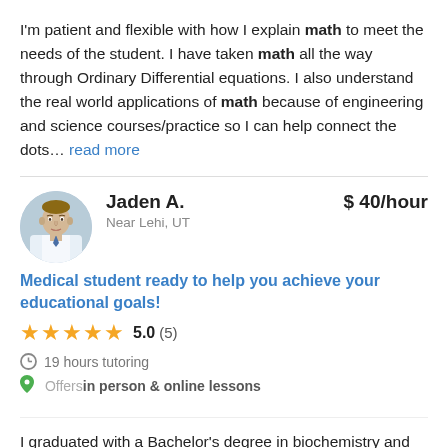I'm patient and flexible with how I explain math to meet the needs of the student. I have taken math all the way through Ordinary Differential equations. I also understand the real world applications of math because of engineering and science courses/practice so I can help connect the dots… read more
[Figure (photo): Circular avatar photo of Jaden A., a young man in a white medical coat]
Jaden A. $40/hour Near Lehi, UT
Medical student ready to help you achieve your educational goals!
5.0 (5)
19 hours tutoring
Offers in person & online lessons
I graduated with a Bachelor's degree in biochemistry and received the Presidential scholarship for my academic performance in high school. Being a medical student with a degree in biochemistry, I have extensive education in the fields